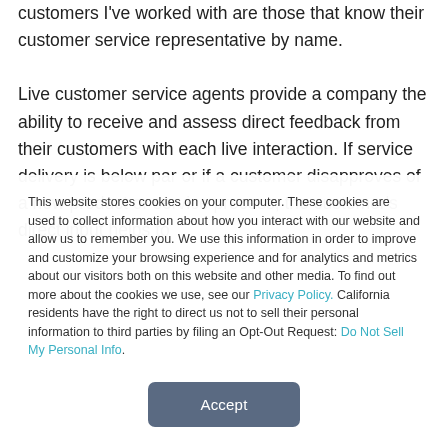customers I've worked with are those that know their customer service representative by name.

Live customer service agents provide a company the ability to receive and assess direct feedback from their customers with each live interaction. If service delivery is below par or if a customer disapproves of a new product or service process, the customer's direct input helps to
This website stores cookies on your computer. These cookies are used to collect information about how you interact with our website and allow us to remember you. We use this information in order to improve and customize your browsing experience and for analytics and metrics about our visitors both on this website and other media. To find out more about the cookies we use, see our Privacy Policy. California residents have the right to direct us not to sell their personal information to third parties by filing an Opt-Out Request: Do Not Sell My Personal Info.
Accept